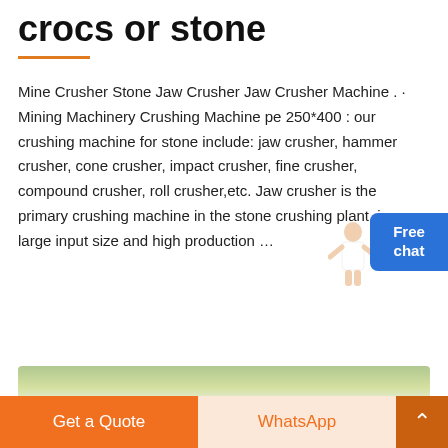crocs or stone
Mine Crusher Stone Jaw Crusher Jaw Crusher Machine . Mining Machinery Crushing Machine pe 250*400 : our crushing machine for stone include: jaw crusher, hammer crusher, cone crusher, impact crusher, fine crusher, compound crusher, roll crusher,etc. Jaw crusher is the primary crushing machine in the stone crushing plant, large input size and high production ...
[Figure (other): Blue 'Free chat' button widget with a person illustration]
Read More
[Figure (photo): Partial image of outdoor scenery with trees]
Get a Quote
WhatsApp